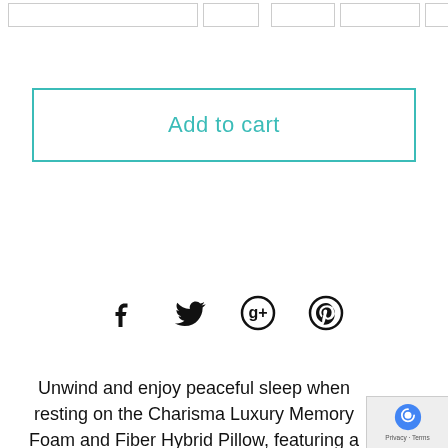[Figure (screenshot): Partial top bar with form input boxes and a button outline]
Add to cart
[Figure (other): Social media share icons: Facebook, Twitter, Google+, Pinterest]
Unwind and enjoy peaceful sleep when resting on the Charisma Luxury Memory Foam and Fiber Hybrid Pillow, featuring a blend of gel-infused